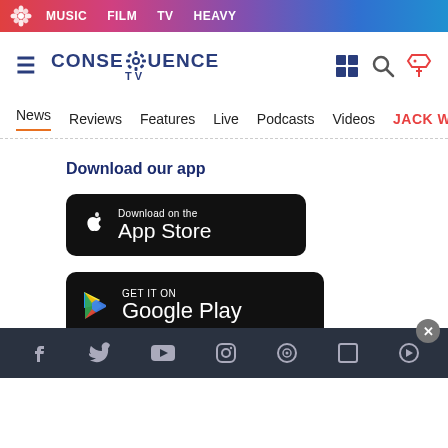MUSIC  FILM  TV  HEAVY
[Figure (logo): Consequence TV logo with gear icon]
News  Reviews  Features  Live  Podcasts  Videos  JACK WH...
Download our app
[Figure (screenshot): Download on the App Store button]
[Figure (screenshot): Get it on Google Play button]
Social media icons: Facebook, Twitter, YouTube, Instagram, and others